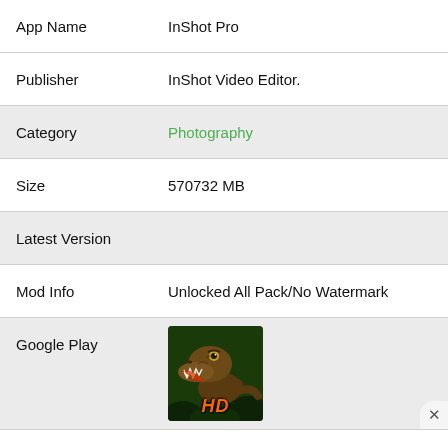| App Name | InShot Pro |
| Publisher | InShot Video Editor. |
| Category | Photography |
| Size | 570732 MB |
| Latest Version |  |
| Mod Info | Unlocked All Pack/No Watermark |
| Google Play | [image: dinosaur HD] |